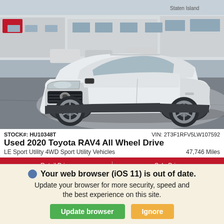[Figure (photo): White 2020 Toyota RAV4 SUV parked at a dealership lot, front 3/4 view, with dealership building visible in background]
STOCK#: HU10348T   VIN: 2T3F1RFV5LW107592
Used 2020 Toyota RAV4 All Wheel Drive
LE Sport Utility 4WD Sport Utility Vehicles   47,746 Miles
| Retail Price | Sale Price |
| --- | --- |
| $32,280 | $29,497 |
Your web browser (iOS 11) is out of date. Update your browser for more security, speed and the best experience on this site.
Update browser   Ignore